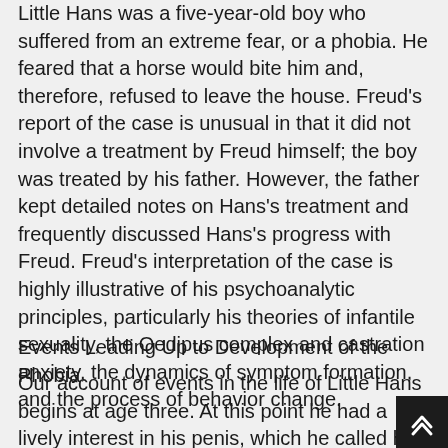Little Hans was a five-year-old boy who suffered from an extreme fear, or a phobia. He feared that a horse would bite him and, therefore, refused to leave the house. Freud's report of the case is unusual in that it did not involve a treatment by Freud himself; the boy was treated by his father. However, the father kept detailed notes on Hans's treatment and frequently discussed Hans's progress with Freud. Freud's interpretation of the case is highly illustrative of his psychoanalytic principles, particularly his theories of infantile sexuality, the Oedipus complex and castration anxiety, the dynamics of symptom formation, and the process of behavior change.
Events Leading Up to Development of the Phobia
Our account of events in the life of Little Hans begins at age three. At this point he had a lively interest in his penis, which he called his “widdler.” He